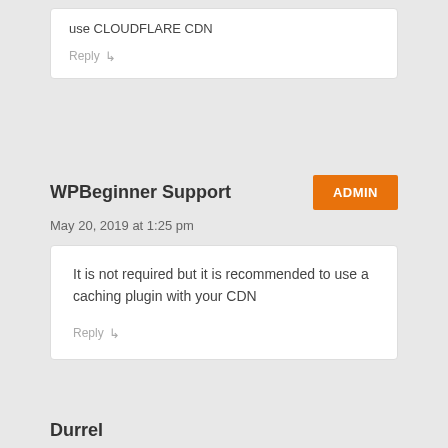use CLOUDFLARE CDN
Reply ↳
WPBeginner Support
ADMIN
May 20, 2019 at 1:25 pm
It is not required but it is recommended to use a caching plugin with your CDN
Reply ↳
Durrel